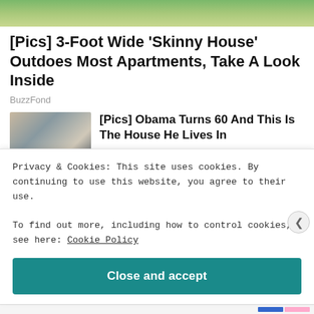[Figure (photo): Green outdoor scene - top banner image strip]
[Pics] 3-Foot Wide 'Skinny House' Outdoes Most Apartments, Take A Look Inside
BuzzFond
[Figure (photo): Group of people outdoors - Obama article thumbnail]
[Pics] Obama Turns 60 And This Is The House He Lives In
BuzzAura
[Figure (photo): Close-up of person with blonde hair - Redford article thumbnail]
[Photos] At 85, Robert Redford Lives In This Modest
Privacy & Cookies: This site uses cookies. By continuing to use this website, you agree to their use.
To find out more, including how to control cookies, see here: Cookie Policy
Close and accept